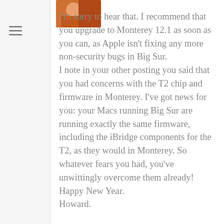[Figure (photo): Avatar/profile photo thumbnail showing a person in orange clothing, positioned in top-left of the content area]
I'm sorry to hear that. I recommend that you upgrade to Monterey 12.1 as soon as you can, as Apple isn't fixing any more non-security bugs in Big Sur.
I note in your other posting you said that you had concerns with the T2 chip and firmware in Monterey. I've got news for you: your Macs running Big Sur are running exactly the same firmware, including the iBridge components for the T2, as they would in Monterey. So whatever fears you had, you've unwittingly overcome them already!
Happy New Year.
Howard.